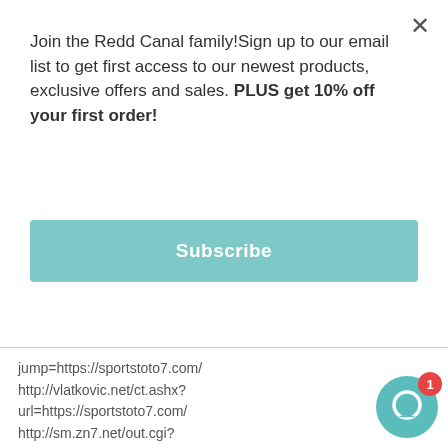Join the Redd Canal family!Sign up to our email list to get first access to our newest products, exclusive offers and sales. PLUS get 10% off your first order!
Subscribe
jump=https://sportstoto7.com/
http://vlatkovic.net/ct.ashx?
url=https://sportstoto7.com/
http://sm.zn7.net/out.cgi?
id=00018&url=https://sportstoto7.com/
http://smyw.org/cgi-bin/atc/out.cgi?
id=190&u=https://sportstoto7.com/
https://www.izbudujemy.pl/redir.php?
cid=78&unum=1&url=https://sportstoto7.com/
http://catalog.grad-nk.ru/click/?